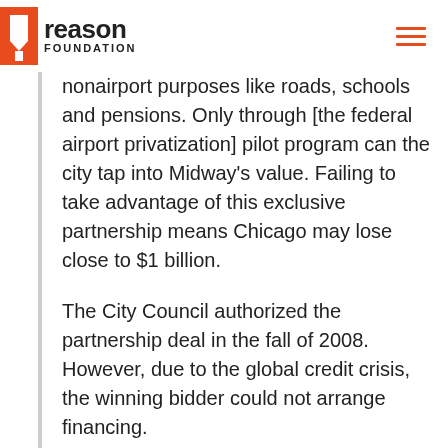reason FOUNDATION
nonairport purposes like roads, schools and pensions. Only through [the federal airport privatization] pilot program can the city tap into Midway’s value. Failing to take advantage of this exclusive partnership means Chicago may lose close to $1 billion.
The City Council authorized the partnership deal in the fall of 2008. However, due to the global credit crisis, the winning bidder could not arrange financing.
Today, conditions are significantly better, evidenced recently by two successful airport transactions in England: the long-term lease of